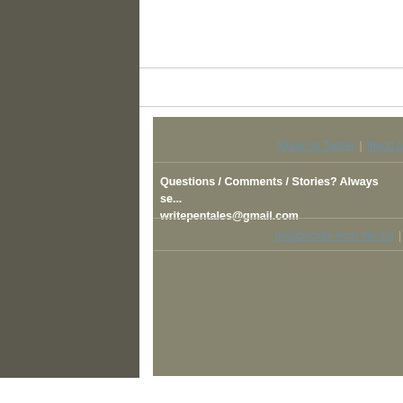follow on Twitter | friend o...
Questions / Comments / Stories? Always se... writepentales@gmail.com
unsubscribe from this list |